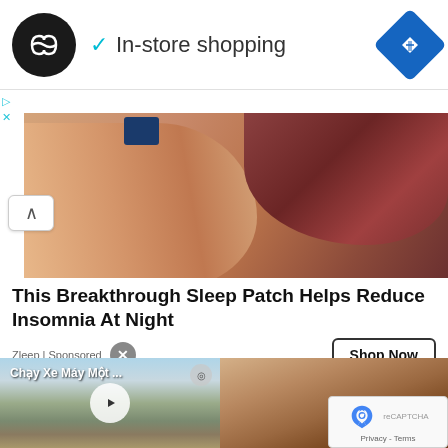[Figure (screenshot): Top navigation bar with circular logo, checkmark 'In-store shopping' text, and blue diamond navigation icon]
[Figure (photo): Close-up photo of skin with a medical device or patch applied, showing wound or treated area]
This Breakthrough Sleep Patch Helps Reduce Insomnia At Night
Zleep | Sponsored
[Figure (screenshot): Video thumbnail showing 'Chạy Xe Máy Một ...' with Southeast Asian temple in background, play button overlay]
[Figure (photo): Close-up photo of skin with hair follicles]
[Figure (logo): reCAPTCHA logo with Privacy and Terms text]